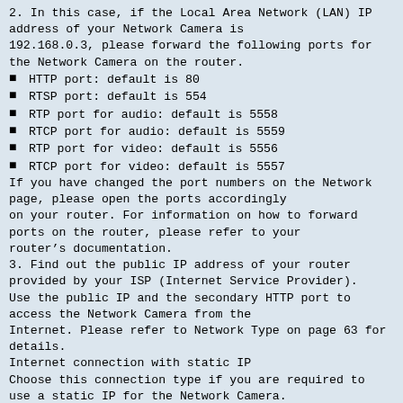2. In this case, if the Local Area Network (LAN) IP address of your Network Camera is 192.168.0.3, please forward the following ports for the Network Camera on the router.
HTTP port: default is 80
RTSP port: default is 554
RTP port for audio: default is 5558
RTCP port for audio: default is 5559
RTP port for video: default is 5556
RTCP port for video: default is 5557
If you have changed the port numbers on the Network page, please open the ports accordingly on your router. For information on how to forward ports on the router, please refer to your router’s documentation.
3. Find out the public IP address of your router provided by your ISP (Internet Service Provider). Use the public IP and the secondary HTTP port to access the Network Camera from the Internet. Please refer to Network Type on page 63 for details.
Internet connection with static IP
Choose this connection type if you are required to use a static IP for the Network Camera. Please refer to LAN settings on page 63 for details.
Internet connection via PPPoE (Point-to-Point over Ethernet)
Choose this connection type if you are connected to the Internet via a DSL Line. Please refer to PPPoE on page 64 for details.
14 - User's Manual
VIVOTEK
Set up the Network Camera through Power over Ethernet